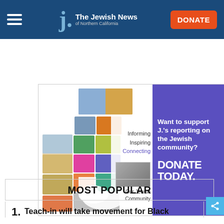The Jewish News of Northern California
[Figure (infographic): J. The Jewish News of Northern California advertisement banner with collage J logo on left, text 'Informing Inspiring Connecting Our Jewish Community' and right side purple panel 'Want to support J.'s reporting on the Jewish community? DONATE TODAY.']
MOST POPULAR
1. Teach-in will take movement for Black